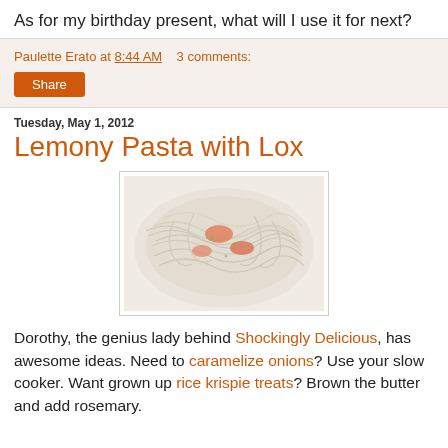As for my birthday present, what will I use it for next?
Paulette Erato at 8:44 AM   3 comments:
Share
Tuesday, May 1, 2012
Lemony Pasta with Lox
[Figure (photo): A plate of lemony pasta with lox (thin rice noodles with salmon pieces), viewed from above on a white plate.]
Dorothy, the genius lady behind Shockingly Delicious, has awesome ideas. Need to caramelize onions? Use your slow cooker. Want grown up rice krispie treats? Brown the butter and add rosemary.